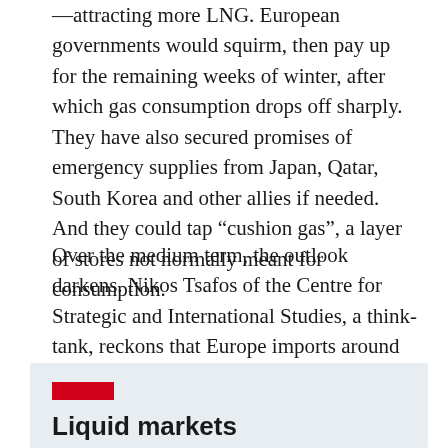—attracting more LNG. European governments would squirm, then pay up for the remaining weeks of winter, after which gas consumption drops off sharply. They have also secured promises of emergency supplies from Japan, Qatar, South Korea and other allies if needed. And they could tap “cushion gas”, a layer of stores not normally meant for consumption.
Over the medium term, the outlook darkens. Nikos Tsafos of the Centre for Strategic and International Studies, a think-tank, reckons that Europe imports around 400bn cubic metres of gas a year. Replacing the 175bn-200bn it gets from Russia with a mix of alternative supplies and reduced gas consumption will be “very tough” beyond 2022, he says. Stumbling into spring with badly depleted stocks will make preparing for next winter difficult.
Liquid markets